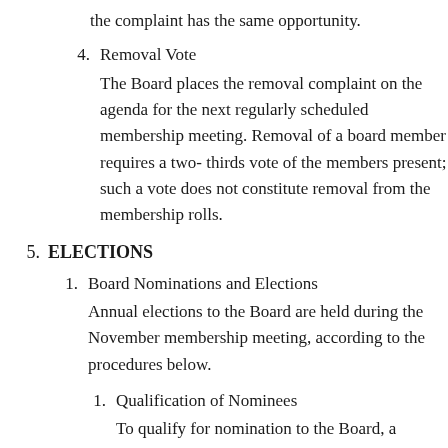the complaint has the same opportunity.
4. Removal Vote
The Board places the removal complaint on the agenda for the next regularly scheduled membership meeting. Removal of a board member requires a two- thirds vote of the members present; such a vote does not constitute removal from the membership rolls.
5. ELECTIONS
1. Board Nominations and Elections
Annual elections to the Board are held during the November membership meeting, according to the procedures below.
1. Qualification of Nominees
To qualify for nomination to the Board, a candidate must be a current FRB member, and have been a member for at least twelve of the eighteen